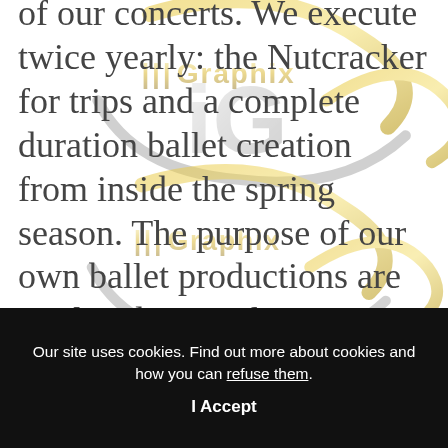of our concerts. We execute twice yearly: the Nutcracker for trips and a complete duration ballet creation from inside the spring season. The purpose of our own ballet productions are to plan dancers for professions in trusted national and worldwide companies. Our very own shows act as the important
[Figure (logo): iGraphix watermark/logo overlaid on text area — stylized 'iG' with metallic silver and gold orbit swoosh design, with 'GRAPHIX' text in gold, repeated twice (top and bottom of text area)]
Our site uses cookies. Find out more about cookies and how you can refuse them. I Accept